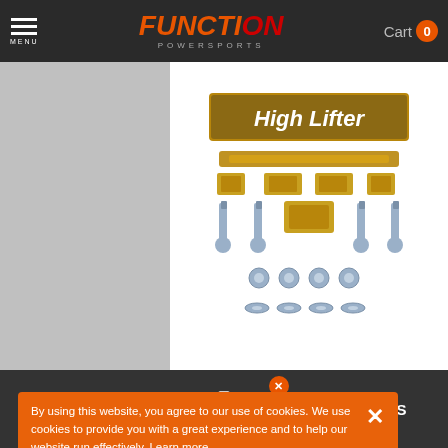Function Powersports - Menu | Cart 0
[Figure (photo): High Lifter branded lift kit hardware including brackets, bolts, nuts and washers on white background]
Starting at $13/mo with affirm.
Pay in 4 interest-free payments of $33.75 with PayPal. Learn more
By using this website, you agree to our use of cookies. We use cookies to provide you with a great experience and to help our website run effectively. Learn more
...ries Lift Kit (15+ Honda Rancher/Rubicon)
SORT | FITMENT INFO | FILTERS